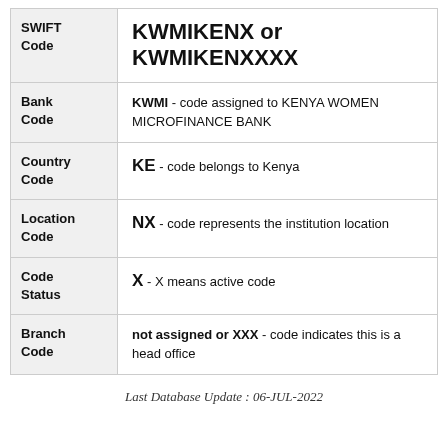| Field | Value |
| --- | --- |
| SWIFT Code | KWMIKENX or KWMIKENXXXX |
| Bank Code | KWMI - code assigned to KENYA WOMEN MICROFINANCE BANK |
| Country Code | KE - code belongs to Kenya |
| Location Code | NX - code represents the institution location |
| Code Status | X - X means active code |
| Branch Code | not assigned or XXX - code indicates this is a head office |
Last Database Update : 06-JUL-2022